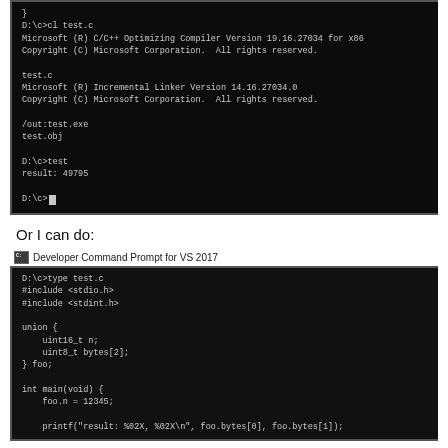[Figure (screenshot): Windows command prompt terminal showing compilation of test.c with Microsoft C/C++ Optimizing Compiler Version 19.16.27034 for x86, Microsoft Incremental Linker Version 14.16.27034.0, output test.exe, running test and getting result: 49795, then D:\c> prompt]
Or I can do:
Developer Command Prompt for VS 2017
[Figure (screenshot): Developer Command Prompt for VS 2017 showing: D:\c>type test.c, #include <stdio.h>, #include <stdint.h>, union { uint16_t n; uint8_t bytes[2]; } foo;, int main(void) {, foo.n = 12345;, printf("result: %02X, %02X\n", foo.bytes[0], foo.bytes[1]);]